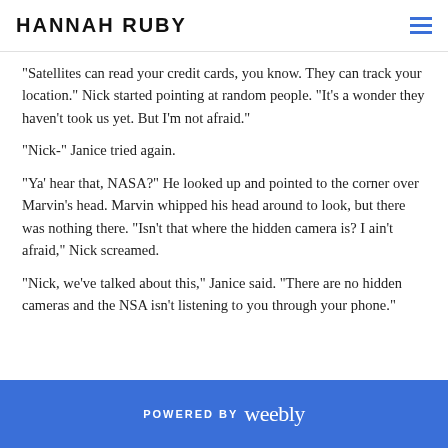HANNAH RUBY
"Satellites can read your credit cards, you know. They can track your location." Nick started pointing at random people. "It's a wonder they haven't took us yet. But I'm not afraid."
"Nick-" Janice tried again.
"Ya' hear that, NASA?" He looked up and pointed to the corner over Marvin's head. Marvin whipped his head around to look, but there was nothing there. "Isn't that where the hidden camera is? I ain't afraid," Nick screamed.
"Nick, we've talked about this," Janice said. "There are no hidden cameras and the NSA isn't listening to you through your phone."
POWERED BY weebly